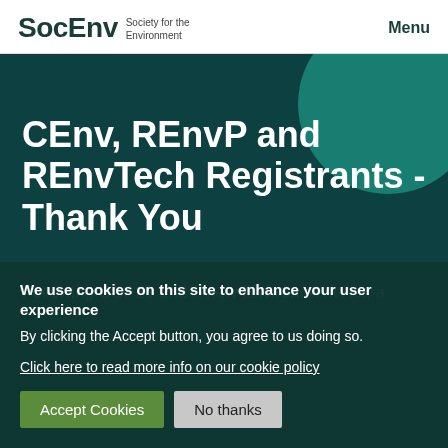SocEnv Society for the Environment | Menu
CEnv, REnvP and REnvTech Registrants - Thank You
Following COP26 and a new Environment Act, a
We use cookies on this site to enhance your user experience
By clicking the Accept button, you agree to us doing so.

Click here to read more info on our cookie policy

Accept Cookies | No thanks